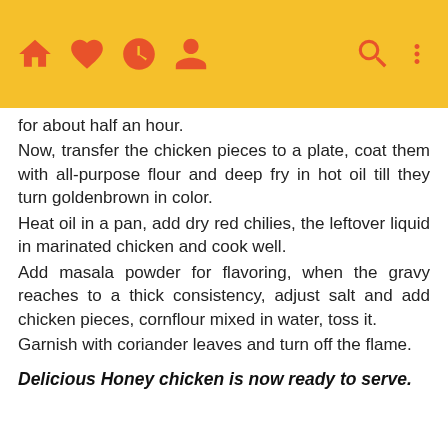Navigation bar with home, heart, clock, profile, search, and menu icons
for about half an hour.
Now, transfer the chicken pieces to a plate, coat them with all-purpose flour and deep fry in hot oil till they turn goldenbrown in color.
Heat oil in a pan, add dry red chilies, the leftover liquid in marinated chicken and cook well.
Add masala powder for flavoring, when the gravy reaches to a thick consistency, adjust salt and add chicken pieces, cornflour mixed in water, toss it.
Garnish with coriander leaves and turn off the flame.
Delicious Honey chicken is now ready to serve.